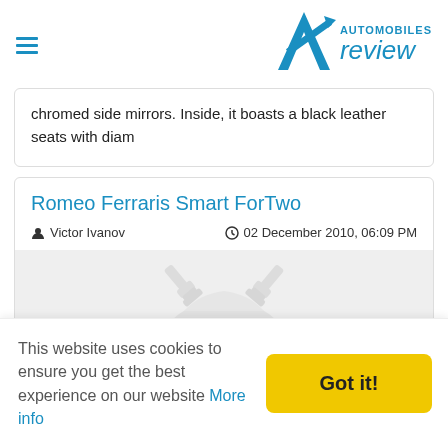Automobiles Review
chromed side mirrors. Inside, it boasts a black leather seats with diam
Romeo Ferraris Smart ForTwo
Victor Ivanov  02 December 2010, 06:09 PM
[Figure (illustration): Placeholder car image with crossed pistons graphic on grey background]
This website uses cookies to ensure you get the best experience on our website More info  Got it!